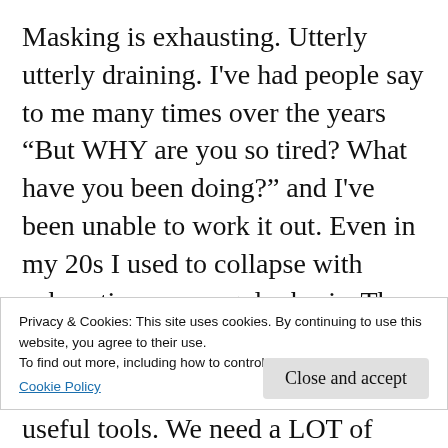Masking is exhausting. Utterly utterly draining. I've had people say to me many times over the years “But WHY are you so tired? What have you been doing?” and I've been unable to work it out. Even in my 20s I used to collapse with exhaustion on a regular basis. The brutal truth is that for an autistic person simply EXISTING in the world is knackering – never mind trying to hold down a job or have any sort of social life. And many of the standard recommendations for “improving mental
Privacy & Cookies: This site uses cookies. By continuing to use this website, you agree to their use.
To find out more, including how to control cookies, see here:
Cookie Policy
Close and accept
useful tools. We need a LOT of downtime in